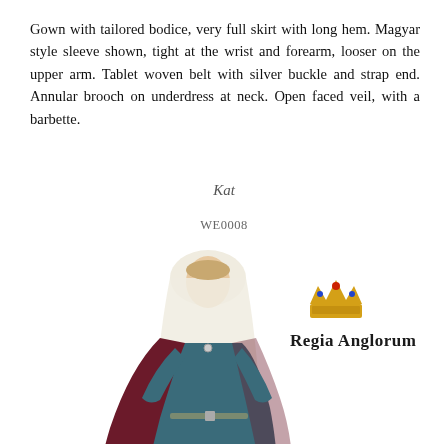Gown with tailored bodice, very full skirt with long hem. Magyar style sleeve shown, tight at the wrist and forearm, looser on the upper arm. Tablet woven belt with silver buckle and strap end. Annular brooch on underdress at neck. Open faced veil, with a barbette.
Kat
WE0008
[Figure (photo): A woman dressed in medieval costume: teal/blue gown with long hem, dark red/burgundy cloak, white veil with barbette, and a belt. She is standing facing slightly to the side. Next to her is the Regia Anglorum logo showing a gold crown above stylized gothic text reading 'Regia Anglorum'.]